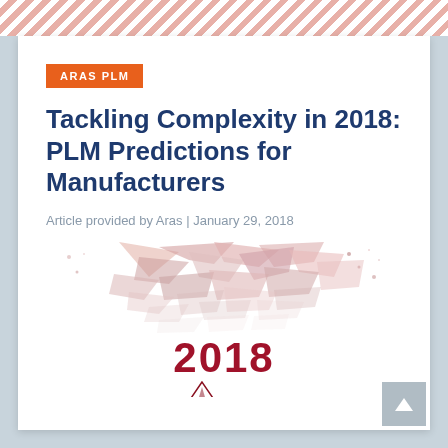ARAS PLM
Tackling Complexity in 2018: PLM Predictions for Manufacturers
Article provided by Aras | January 29, 2018
[Figure (illustration): Abstract red/pink fragmented geometric scatter illustration with large bold text '2018' in dark red/crimson below it, and the Aras Corp logo (triangle mountain icon with 'aras corp' text) beneath the number.]